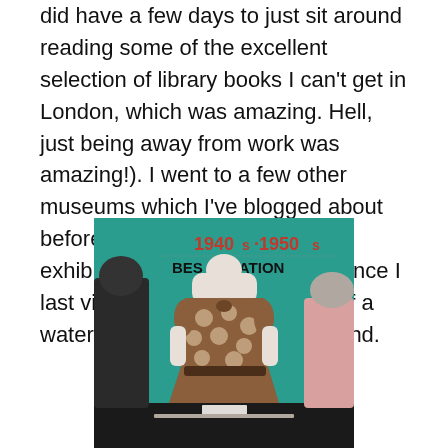did have a few days to just sit around reading some of the excellent selection of library books I can't get in London, which was amazing. Hell, just being away from work was amazing!). I went to a few other museums which I've blogged about before, so I'll share with you the exhibitions that have changed since I last visited, as well as my tour of a water treatment plant in Cleveland.
[Figure (photo): Museum display showing mannequins wearing 1940s-1950s era clothing against a teal background. A sign reads '1940s-1950s BEST LOCATION ION'. The central mannequin wears a brown floral dress with a dark belt.]